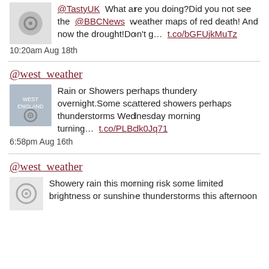@TastyUK  What are you doing?Did you not see the  @BBCNews  weather maps of red death! And now the drought!Don't g…  t.co/bGFUjkMuTz
10:20am Aug 18th
@west_weather
Rain or Showers perhaps thundery overnight.Some scattered showers perhaps thunderstorms Wednesday morning turning…  t.co/PLBdk0Jq71
6:58pm Aug 16th
@west_weather
Showery rain this morning risk some limited brightness or sunshine thunderstorms this afternoon